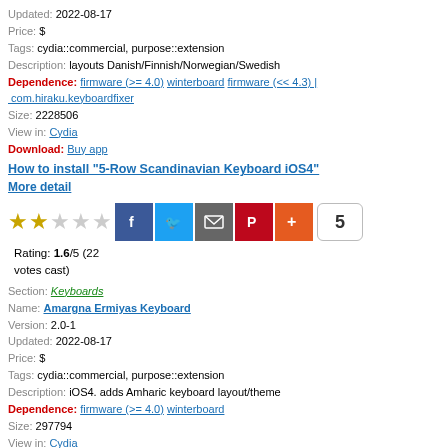Updated: 2022-08-17
Price: $
Tags: cydia::commercial, purpose::extension
Description: layouts Danish/Finnish/Norwegian/Swedish
Dependence: firmware (>= 4.0) winterboard firmware (<< 4.3) | com.hiraku.keyboardfixer
Size: 2228506
View in: Cydia
Download: Buy app
How to install "5-Row Scandinavian Keyboard iOS4"
More detail
[Figure (other): Star rating (1.6/5) and social sharing buttons (Facebook, Twitter, Email, Pinterest, Plus) with count 5]
Rating: 1.6/5 (22 votes cast)
Section: Keyboards
Name: Amargna Ermiyas Keyboard
Version: 2.0-1
Updated: 2022-08-17
Price: $
Tags: cydia::commercial, purpose::extension
Description: iOS4. adds Amharic keyboard layout/theme
Dependence: firmware (>= 4.0) winterboard
Size: 297794
View in: Cydia
Download: Buy app
How to install "Amargna Ermiyas Keyboard"